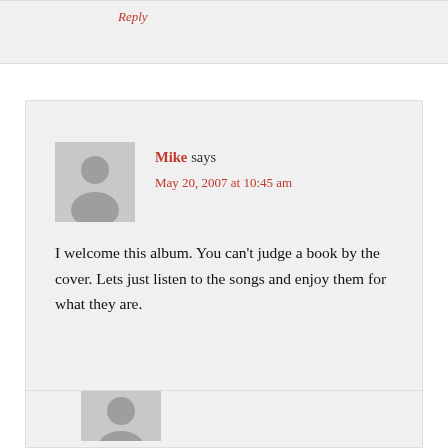Reply
[Figure (illustration): User avatar placeholder - grey silhouette of a person]
Mike says
May 20, 2007 at 10:45 am
I welcome this album. You can't judge a book by the cover. Lets just listen to the songs and enjoy them for what they are.
Reply
[Figure (illustration): User avatar placeholder - grey silhouette of a person (partially visible)]